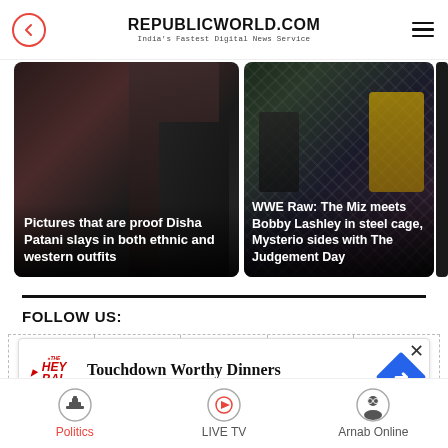REPUBLICWORLD.COM — India's Fastest Digital News Service
[Figure (photo): News card 1: Photo of Disha Patani with overlay text 'Pictures that are proof Disha Patani slays in both ethnic and western outfits']
[Figure (photo): News card 2: Photo of WWE Raw match with overlay text 'WWE Raw: The Miz meets Bobby Lashley in steel cage, Mysterio sides with The Judgement Day']
[Figure (photo): News card 3: Partial card showing '6.8' and 'leav...']
FOLLOW US:
[Figure (infographic): Social media icons row: Facebook, Twitter, Koo, Instagram, YouTube]
[Figure (screenshot): Advertisement banner: Touchdown Worthy Dinners — The Honey Baked Ham Compa..]
Politics | LIVE TV | Arnab Online